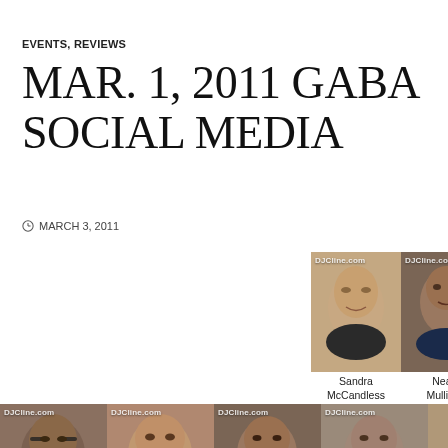EVENTS, REVIEWS
MAR. 1, 2011 GABA SOCIAL MEDIA
MARCH 3, 2011
[Figure (photo): GABA California German American Business Association logo with flag, alongside photos of Sandra McCandless, Neale Mulligan, Caroline Raynaud in top row, and four more people in bottom row, all watermarked DJCline.com]